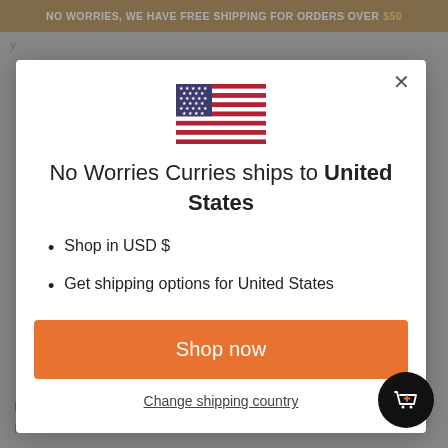NO WORRIES, WE HAVE FREE SHIPPING FOR ORDERS OVER $50
[Figure (illustration): US flag SVG illustration inside modal dialog]
No Worries Curries ships to United States
Shop in USD $
Get shipping options for United States
Shop now
Change shipping country
Home-cooked meals
Home Made